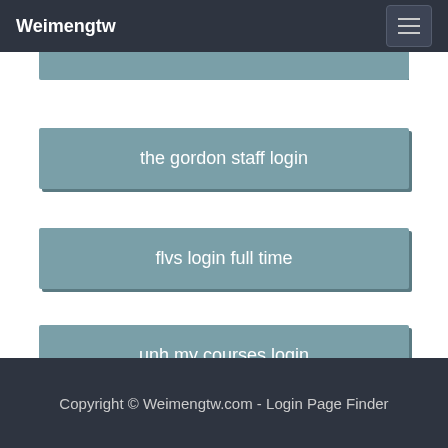Weimengtw
the gordon staff login
flvs login full time
unh my courses login
Copyright © Weimengtw.com - Login Page Finder